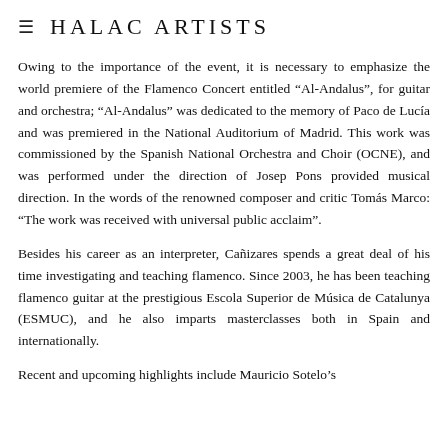HALAC ARTISTS
Owing to the importance of the event, it is necessary to emphasize the world premiere of the Flamenco Concert entitled “Al-Andalus”, for guitar and orchestra; “Al-Andalus” was dedicated to the memory of Paco de Lucía and was premiered in the National Auditorium of Madrid. This work was commissioned by the Spanish National Orchestra and Choir (OCNE), and was performed under the direction of Josep Pons provided musical direction. In the words of the renowned composer and critic Tomás Marco: “The work was received with universal public acclaim”.
Besides his career as an interpreter, Cañizares spends a great deal of his time investigating and teaching flamenco. Since 2003, he has been teaching flamenco guitar at the prestigious Escola Superior de Música de Catalunya (ESMUC), and he also imparts masterclasses both in Spain and internationally.
Recent and upcoming highlights include Mauricio Sotelo’s